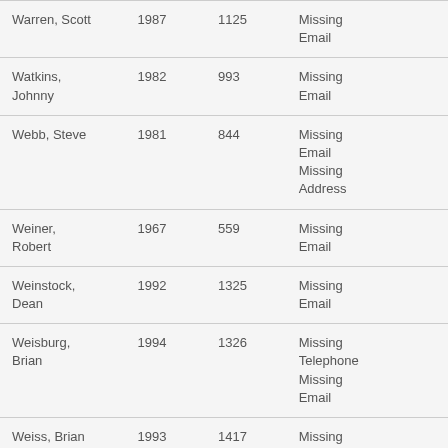| Warren, Scott | 1987 | 1125 | Missing Email |
| Watkins, Johnny | 1982 | 993 | Missing Email |
| Webb, Steve | 1981 | 844 | Missing Email Missing Address |
| Weiner, Robert | 1967 | 559 | Missing Email |
| Weinstock, Dean | 1992 | 1325 | Missing Email |
| Weisburg, Brian | 1994 | 1326 | Missing Telephone Missing Email |
| Weiss, Brian | 1993 | 1417 | Missing Email |